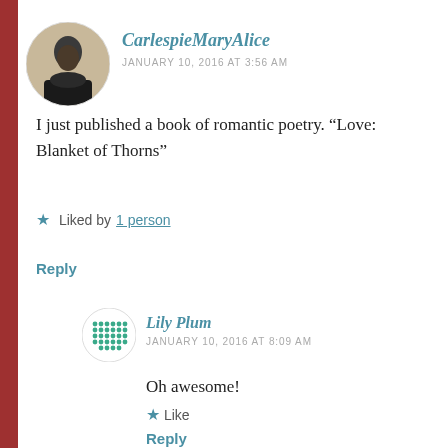[Figure (photo): Circular avatar of a person (man in dark clothing), used as profile photo for CarlespieMaryAlice]
CarlespieMaryAlice
JANUARY 10, 2016 AT 3:56 AM
I just published a book of romantic poetry. “Love: Blanket of Thorns”
Liked by 1 person
Reply
[Figure (illustration): Circular avatar made of a green dotted/diamond grid pattern, used as profile photo for Lily Plum]
Lily Plum
JANUARY 10, 2016 AT 8:09 AM
Oh awesome!
Like
Reply